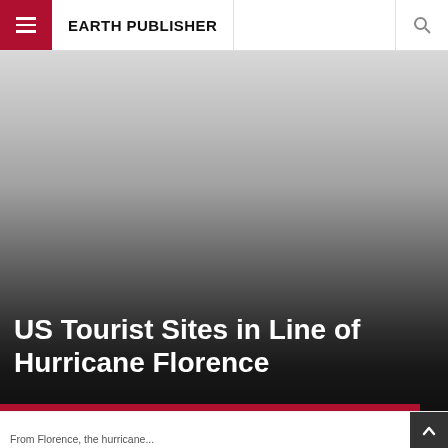EARTH PUBLISHER
[Figure (photo): Hero image area with gradient from light gray at top to dark/black at bottom, representing a hero photograph background.]
US Tourist Sites in Line of Hurricane Florence
From Florence, the hurricane...